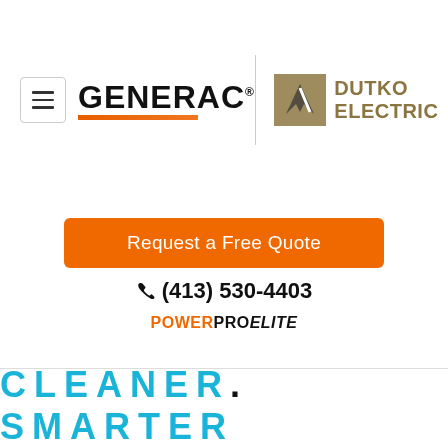[Figure (logo): Hamburger menu button (three horizontal lines in a rounded rectangle border)]
[Figure (logo): GENERAC logo in bold black letters with orange underline bar]
[Figure (logo): Dutko Electric logo with gold icon and gold bold text DUTKO ELECTRIC]
Request a Free Quote
(413) 530-4403
POWERPRO ELITE
CLEANER. SMARTER